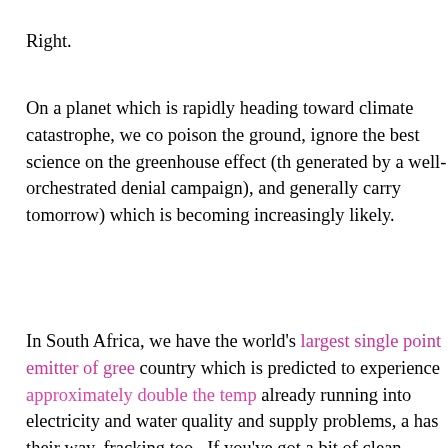Right.
On a planet which is rapidly heading toward climate catastrophe, we co poison the ground, ignore the best science on the greenhouse effect (th generated by a well-orchestrated denial campaign), and generally carry tomorrow) which is becoming increasingly likely.
In South Africa, we have the world's largest single point emitter of gree country which is predicted to experience approximately double the temp already running into electricity and water quality and supply problems, a has their way, fracking too.  If you've got a bit of clean groundwater left have to worry about it in the future.
This is insanity.  Obtaining World Bank loans to build more coal plants w insanity.  Not standing our ground and demanding that the big industria thoroughly investigating fast breeder reactor technology is insanity.  Pro poor South Africans cannot afford the ever-rising cost domestic tariffs is (and releasing methane, one of the most potent greenhouse gases aro deniers while the science and the weather are telling us something ver is insanity.  What it does is outsources those jobs to big companies, an politicians, and destroys the quality of life for communities unlucky eno
Do you know how to spell insanity?  There are a few alternative spellin